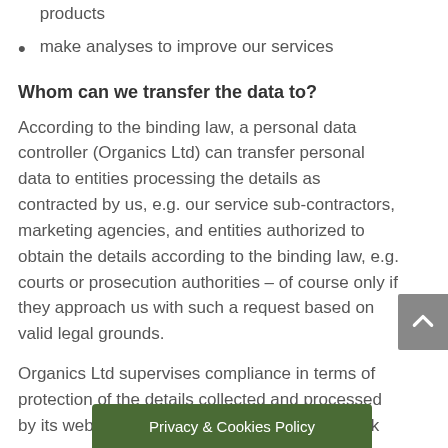products
make analyses to improve our services
Whom can we transfer the data to?
According to the binding law, a personal data controller (Organics Ltd) can transfer personal data to entities processing the details as contracted by us, e.g. our service sub-contractors, marketing agencies, and entities authorized to obtain the details according to the binding law, e.g. courts or prosecution authorities – of course only if they approach us with such a request based on valid legal grounds.
Organics Ltd supervises compliance in terms of protection of the details collected and processed by its website. Contact: comms@organics.co.uk
What are your rights
details?
Privacy & Cookies Policy